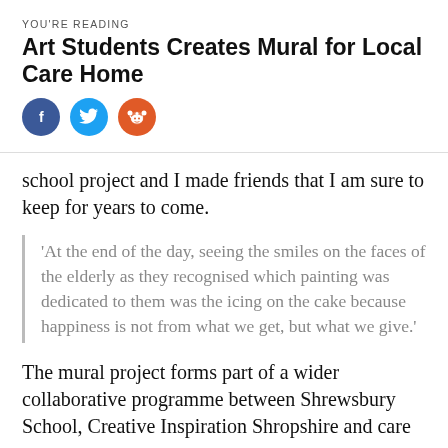YOU'RE READING
Art Students Creates Mural for Local Care Home
[Figure (infographic): Three social share buttons: Facebook (dark blue circle with 'f'), Twitter (light blue circle with bird icon), Reddit (orange circle with alien icon)]
school project and I made friends that I am sure to keep for years to come.
'At the end of the day, seeing the smiles on the faces of the elderly as they recognised which painting was dedicated to them was the icing on the cake because happiness is not from what we get, but what we give.'
The mural project forms part of a wider collaborative programme between Shrewsbury School, Creative Inspiration Shropshire and care